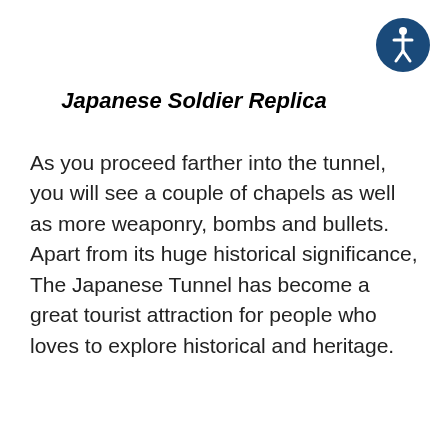[Figure (logo): Accessibility icon: a circular dark blue badge with a white stick-figure person in a dynamic pose, representing accessibility.]
Japanese Soldier Replica
As you proceed farther into the tunnel, you will see a couple of chapels as well as more weaponry, bombs and bullets.  Apart from its huge historical significance, The Japanese Tunnel has become a great tourist attraction for people who loves to explore historical and heritage.